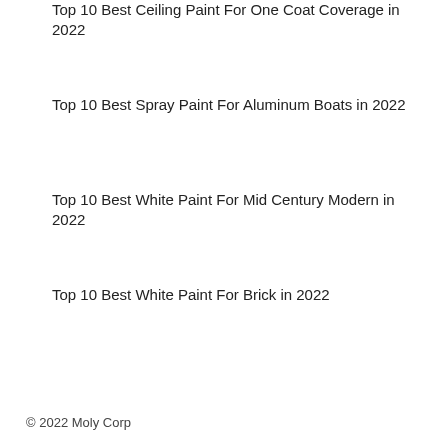Top 10 Best Ceiling Paint For One Coat Coverage in 2022
Top 10 Best Spray Paint For Aluminum Boats in 2022
Top 10 Best White Paint For Mid Century Modern in 2022
Top 10 Best White Paint For Brick in 2022
© 2022 Moly Corp